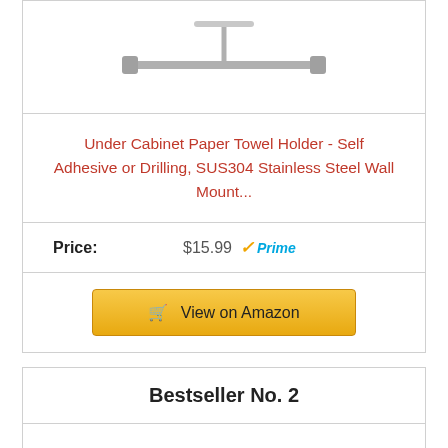[Figure (photo): Under cabinet paper towel holder product image (partially visible at top)]
Under Cabinet Paper Towel Holder - Self Adhesive or Drilling, SUS304 Stainless Steel Wall Mount...
Price: $15.99 Prime
View on Amazon
Bestseller No. 2
[Figure (photo): Second product photo (partially visible at bottom)]